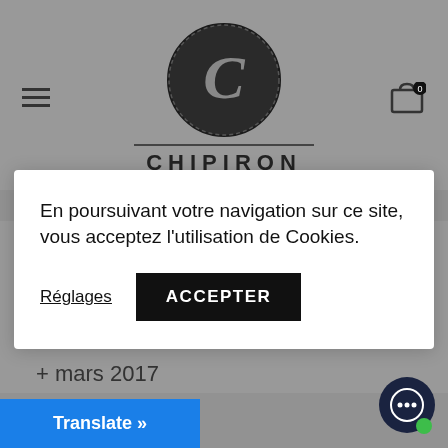[Figure (logo): Chipiron brand logo with circular dark emblem showing letter C and CHIPIRON text below with decorative lines]
En poursuivant votre navigation sur ce site, vous acceptez l'utilisation de Cookies.
Réglages
ACCEPTER
+ juin 2017
+ mai 2017
+ avril 2017
+ mars 2017
Translate »